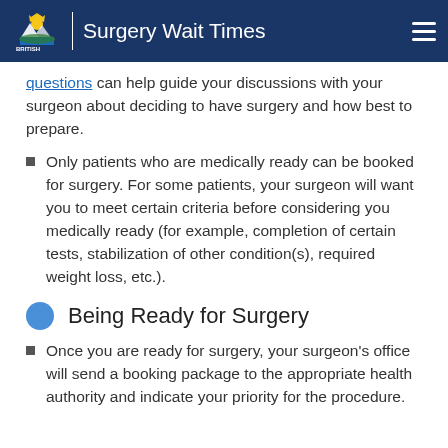Surgery Wait Times
questions can help guide your discussions with your surgeon about deciding to have surgery and how best to prepare.
Only patients who are medically ready can be booked for surgery. For some patients, your surgeon will want you to meet certain criteria before considering you medically ready (for example, completion of certain tests, stabilization of other condition(s), required weight loss, etc.).
Being Ready for Surgery
Once you are ready for surgery, your surgeon's office will send a booking package to the appropriate health authority and indicate your priority for the procedure.